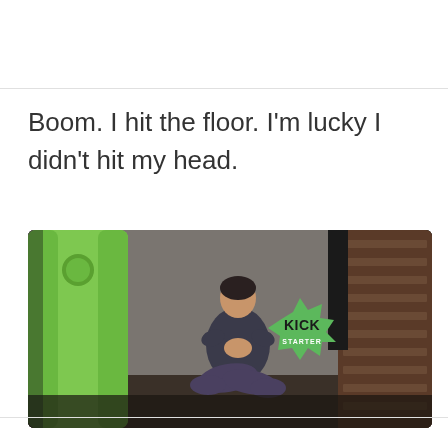Boom. I hit the floor. I'm lucky I didn't hit my head.
[Figure (photo): A person sitting in a yoga meditation pose (cross-legged, hands pressed together at chest) in a dim indoor setting. In the foreground left is a tall green cylindrical object (a smart device/bottle). In the mid-right area is a green Kickstarter badge/logo overlay. Background shows a dark wooden wall/shelving unit.]